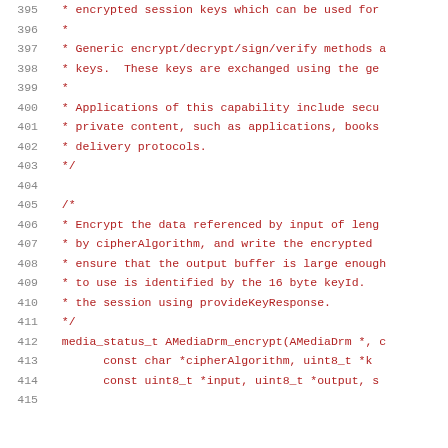Source code listing lines 395-415
395  * encrypted session keys which can be used for
396  *
397  * Generic encrypt/decrypt/sign/verify methods a
398  * keys.  These keys are exchanged using the ge
399  *
400  * Applications of this capability include secu
401  * private content, such as applications, books
402  * delivery protocols.
403  */
404
405  /*
406  * Encrypt the data referenced by input of leng
407  * by cipherAlgorithm, and write the encrypted
408  * ensure that the output buffer is large enough
409  * to use is identified by the 16 byte keyId.
410  * the session using provideKeyResponse.
411  */
412  media_status_t AMediaDrm_encrypt(AMediaDrm *, c
413       const char *cipherAlgorithm, uint8_t *k
414       const uint8_t *input, uint8_t *output, s
415